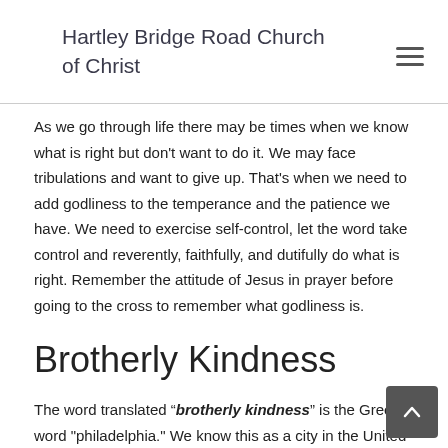Hartley Bridge Road Church of Christ
As we go through life there may be times when we know what is right but don’t want to do it. We may face tribulations and want to give up. That’s when we need to add godliness to the temperance and the patience we have. We need to exercise self-control, let the word take control and reverently, faithfully, and dutifully do what is right. Remember the attitude of Jesus in prayer before going to the cross to remember what godliness is.
Brotherly Kindness
The word translated “brotherley kindness” is the Greek word “philadelphia.” We know this as a city in the United States